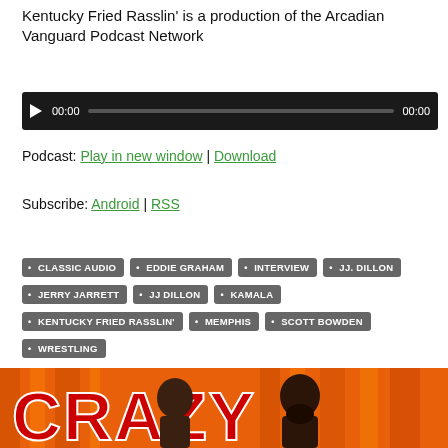Kentucky Fried Rasslin' is a production of the Arcadian Vanguard Podcast Network
[Figure (other): Audio player with play button, time display 00:00, progress bar, and end time 00:00 on dark background]
Podcast: Play in new window | Download
Subscribe: Android | RSS
Tags: CLASSIC AUDIO, EDDIE GRAHAM, INTERVIEW, JJ. DILLON, JERRY JARRETT, JJ DILLON, KAMALA, KENTUCKY FRIED RASSLIN', MEMPHIS, SCOTT BOWDEN, WRESTLING
[Figure (illustration): Colorful illustrated image at bottom showing text CRAZY in red with illustrated figures on orange/red background]